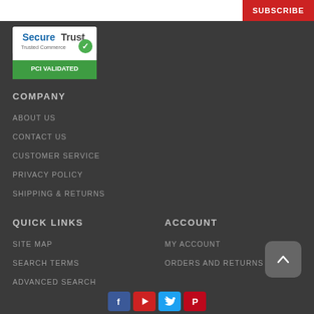[Figure (other): Email subscription bar with white input field and red SUBSCRIBE button]
[Figure (logo): SecureTrust Trusted Commerce PCI Validated badge]
COMPANY
ABOUT US
CONTACT US
CUSTOMER SERVICE
PRIVACY POLICY
SHIPPING & RETURNS
QUICK LINKS
ACCOUNT
SITE MAP
SEARCH TERMS
ADVANCED SEARCH
MY ACCOUNT
ORDERS AND RETURNS
[Figure (other): Back to top button (chevron up arrow on dark rounded square)]
[Figure (other): Social media icons row: Facebook, YouTube, Twitter, Pinterest]